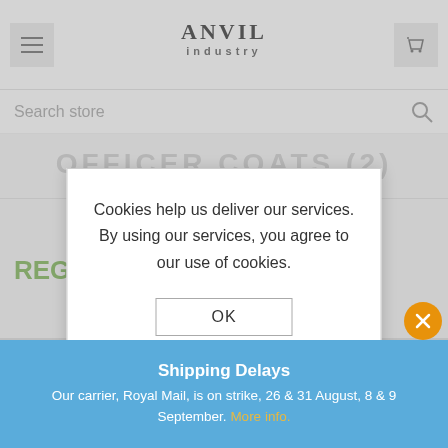Anvil Industry — Search store
OFFICER COATS (2)
REGI
[Figure (screenshot): Two resin miniature torso pieces (officer coats) shown as product images]
Cookies help us deliver our services. By using our services, you agree to our use of cookies.

OK

Learn more
Shipping Delays
Our carrier, Royal Mail, is on strike, 26 & 31 August, 8 & 9 September. More info.